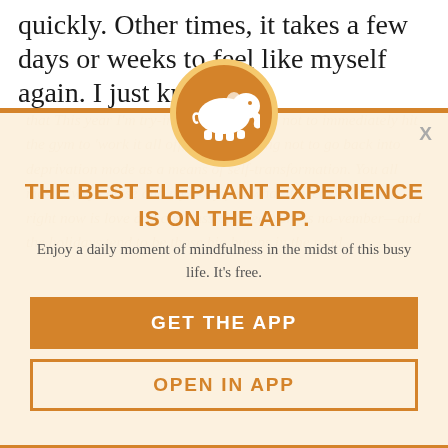quickly. Other times, it takes a few days or weeks to feel like myself again. I just know
that This year I'm try-ing to learn a hard not to immediately hit the gym to 'work it all off,' and I'm trying not to go back into deprivation mode as a means of self-transformation. You all most always close and my body feel what it needs the most right now is love and compassion. Recovery is no-vember—and the holidays tend to be those big bumps in the road.
[Figure (logo): Elephant Journal app icon: white elephant silhouette on orange circle]
THE BEST ELEPHANT EXPERIENCE IS ON THE APP.
Enjoy a daily moment of mindfulness in the midst of this busy life. It's free.
GET THE APP
OPEN IN APP